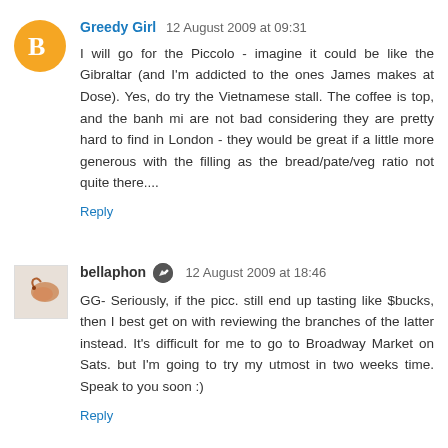Greedy Girl  12 August 2009 at 09:31
I will go for the Piccolo - imagine it could be like the Gibraltar (and I'm addicted to the ones James makes at Dose). Yes, do try the Vietnamese stall. The coffee is top, and the banh mi are not bad considering they are pretty hard to find in London - they would be great if a little more generous with the filling as the bread/pate/veg ratio not quite there....
Reply
bellaphon  12 August 2009 at 18:46
GG- Seriously, if the picc. still end up tasting like $bucks, then I best get on with reviewing the branches of the latter instead. It's difficult for me to go to Broadway Market on Sats. but I'm going to try my utmost in two weeks time. Speak to you soon :)
Reply